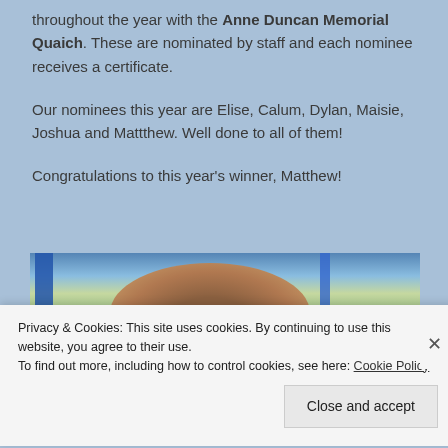throughout the year with the Anne Duncan Memorial Quaich. These are nominated by staff and each nominee receives a certificate.
Our nominees this year are Elise, Calum, Dylan, Maisie, Joshua and Mattthew. Well done to all of them!
Congratulations to this year's winner, Matthew!
[Figure (photo): Photograph showing the back of a person's head with a ponytail, in front of a window with blue curtains and green foliage visible outside.]
Privacy & Cookies: This site uses cookies. By continuing to use this website, you agree to their use.
To find out more, including how to control cookies, see here: Cookie Policy
Close and accept